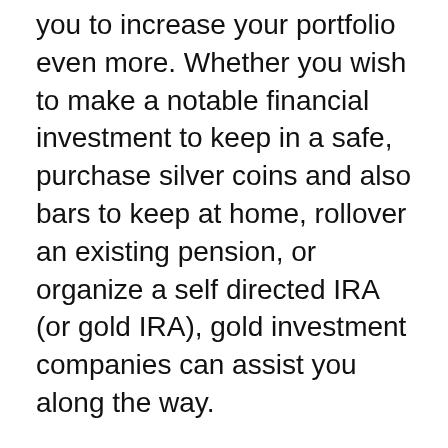you to increase your portfolio even more. Whether you wish to make a notable financial investment to keep in a safe, purchase silver coins and also bars to keep at home, rollover an existing pension, or organize a self directed IRA (or gold IRA), gold investment companies can assist you along the way.
As a result of the current media insurance coverage precious metals have actually obtained, extra business are beginning to provide services. Certainly, with boosted competitors comes better bargains for financiers. Many individuals locate it hard to pick a gold financial investment firm, from the huge numbers of firms available. Unskilled financiers are particularly prone to